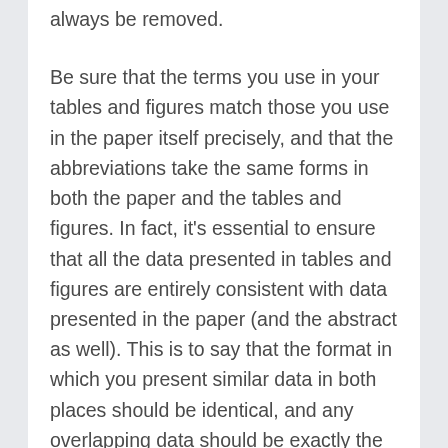always be removed.
Be sure that the terms you use in your tables and figures match those you use in the paper itself precisely, and that the abbreviations take the same forms in both the paper and the tables and figures. In fact, it's essential to ensure that all the data presented in tables and figures are entirely consistent with data presented in the paper (and the abstract as well). This is to say that the format in which you present similar data in both places should be identical, and any overlapping data should be exactly the same in content as well as format in both places. Remember that data stand alone in a table or figure, so they need to be perfect and should be checked more than once by more